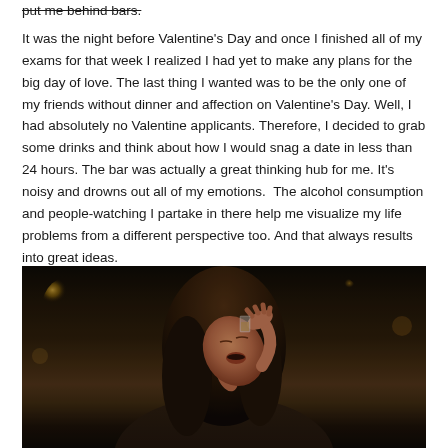put me behind bars.
It was the night before Valentine's Day and once I finished all of my exams for that week I realized I had yet to make any plans for the big day of love. The last thing I wanted was to be the only one of my friends without dinner and affection on Valentine's Day. Well, I had absolutely no Valentine applicants. Therefore, I decided to grab some drinks and think about how I would snag a date in less than 24 hours. The bar was actually a great thinking hub for me. It's noisy and drowns out all of my emotions.  The alcohol consumption and people-watching I partake in there help me visualize my life problems from a different perspective too. And that always results into great ideas.
[Figure (photo): Dark, moody bar scene photo of a woman tilting her head back drinking a shot, warm amber bokeh lighting in background]